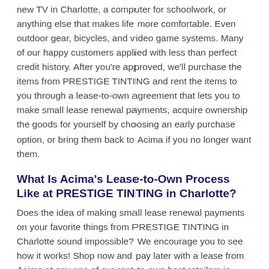new TV in Charlotte, a computer for schoolwork, or anything else that makes life more comfortable. Even outdoor gear, bicycles, and video game systems. Many of our happy customers applied with less than perfect credit history. After you're approved, we'll purchase the items from PRESTIGE TINTING and rent the items to you through a lease-to-own agreement that lets you to make small lease renewal payments, acquire ownership the goods for yourself by choosing an early purchase option, or bring them back to Acima if you no longer want them.
What Is Acima's Lease-to-Own Process Like at PRESTIGE TINTING in Charlotte?
Does the idea of making small lease renewal payments on your favorite things from PRESTIGE TINTING in Charlotte sound impossible? We encourage you to see how it works! Shop now and pay later with a lease from Acima at any one of our rent-to-own host retailers in Charlotte, including your closest PRESTIGE TINTING.